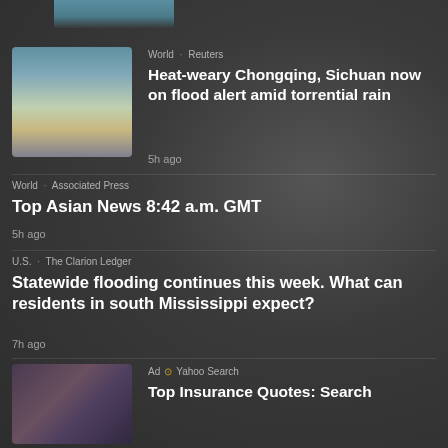[Figure (photo): Partial thumbnail of bridge/landscape at top]
[Figure (photo): Coastal landscape with dry riverbed, bridge in background]
World · Reuters
Heat-weary Chongqing, Sichuan now on flood alert amid torrential rain
5h ago
World · Associated Press
Top Asian News 8:42 a.m. GMT
5h ago
U.S. · The Clarion Ledger
Statewide flooding continues this week. What can residents in south Mississippi expect?
7h ago
[Figure (photo): Couple sitting together, woman embracing man from behind]
Ad · Yahoo Search
Top Insurance Quotes: Search